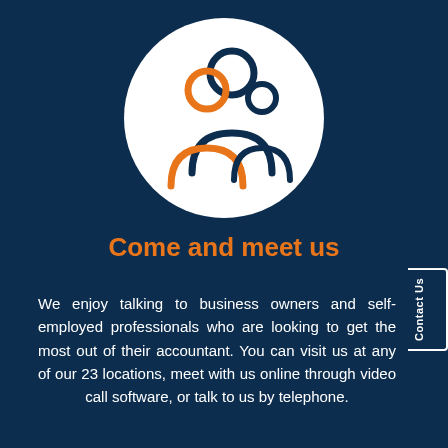[Figure (illustration): Three person/people icons in a circular white background: a large orange person figure in the front-left, a large dark navy person figure in the center-back, and a smaller dark navy person figure on the right. The circle sits on a dark navy background.]
Come and meet us
We enjoy talking to business owners and self-employed professionals who are looking to get the most out of their accountant. You can visit us at any of our 23 locations, meet with us online through video call software, or talk to us by telephone.